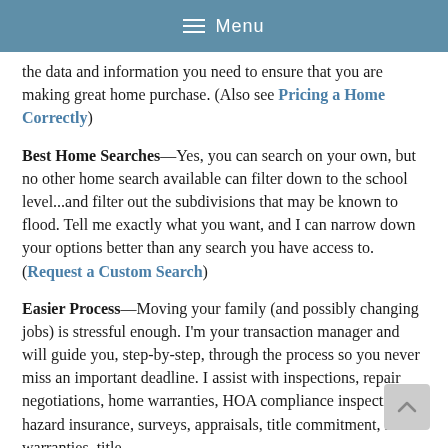≡ Menu
the data and information you need to ensure that you are making great home purchase. (Also see Pricing a Home Correctly)
Best Home Searches—Yes, you can search on your own, but no other home search available can filter down to the school level...and filter out the subdivisions that may be known to flood. Tell me exactly what you want, and I can narrow down your options better than any search you have access to. (Request a Custom Search)
Easier Process—Moving your family (and possibly changing jobs) is stressful enough. I'm your transaction manager and will guide you, step-by-step, through the process so you never miss an important deadline. I assist with inspections, repair negotiations, home warranties, HOA compliance inspections, hazard insurance, surveys, appraisals, title commitment, home warranties, title